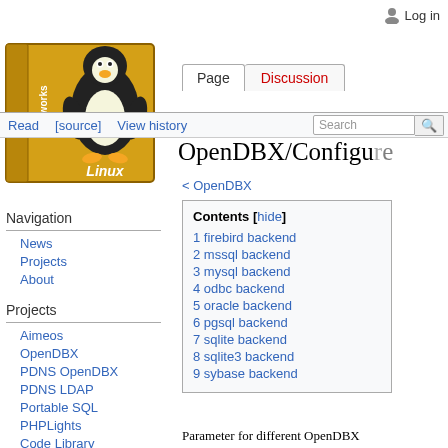Log in
[Figure (logo): Linux Networks wiki logo with Tux penguin on a yellow book]
Page   Discussion   Read   [source]   View histor[y]
OpenDBX/Configu[re]
< OpenDBX
Navigation
News
Projects
About
Projects
Aimeos
OpenDBX
PDNS OpenDBX
PDNS LDAP
Portable SQL
PHPLights
Code Library
| Contents |
| --- |
| 1 firebird backend |
| 2 mssql backend |
| 3 mysql backend |
| 4 odbc backend |
| 5 oracle backend |
| 6 pgsql backend |
| 7 sqlite backend |
| 8 sqlite3 backend |
| 9 sybase backend |
Parameter for different OpenDBX